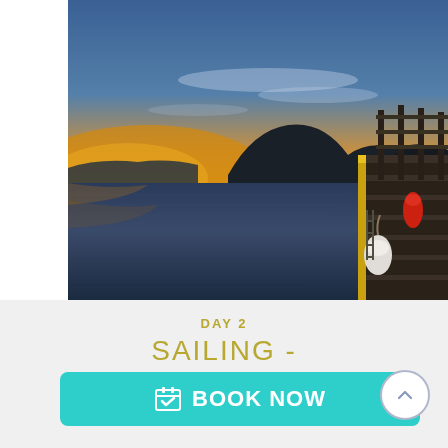[Figure (photo): A scenic harbour/fjord photograph at sunset or sunrise. Calm water in the foreground with mountain silhouettes in the background. A wooden dock/pier structure is visible on the right side with a yellow railing. The sky transitions from blue to golden yellow near the horizon.]
DAY 2
SAILING -
HIKING -
BOOK NOW